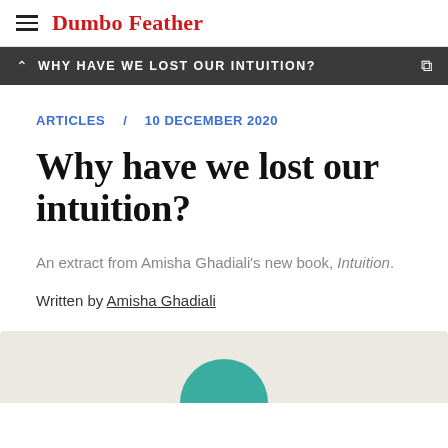Dumbo Feather
WHY HAVE WE LOST OUR INTUITION?
ARTICLES   10 DECEMBER 2020
Why have we lost our intuition?
An extract from Amisha Ghadiali's new book, Intuition.
Written by Amisha Ghadiali
[Figure (photo): A teal circular object partially visible at the bottom of the page against a beige/cream background.]